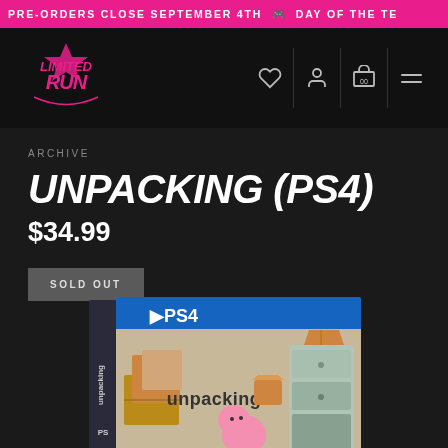PRE-ORDERS CLOSE SEPTEMBER 4TH  DAY OF THE TE
[Figure (logo): Limited Run Games logo in pink/magenta with stylized lettering]
ARCHIVE
UNPACKING (PS4)
$34.99
SOLD OUT
[Figure (photo): PS4 game case for Unpacking showing the game cover art with cartoon boxes, a pink bear character, and a PS4 logo on a blue case]